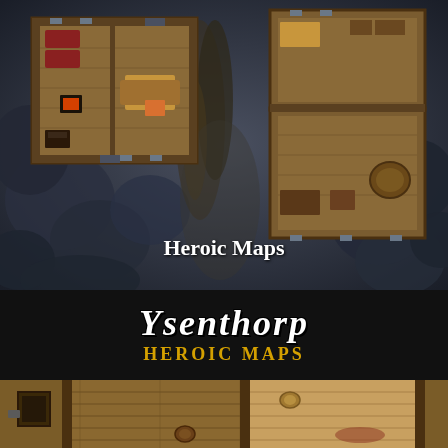[Figure (illustration): Top-down fantasy RPG battle map showing multiple building floor plans (rooms with furniture, wooden floors, fireplaces, barrels, crates) set against a dark blue-grey forest/wilderness background with trees. The text 'Heroic Maps' appears in white serif font in the lower-center of the map image.]
YSENTHORP
Heroic Maps
[Figure (illustration): Close-up detail of the fantasy RPG map showing wooden plank flooring texture with rooms, doorways, iron hasps/fixtures, and building interior details in warm brown tones.]